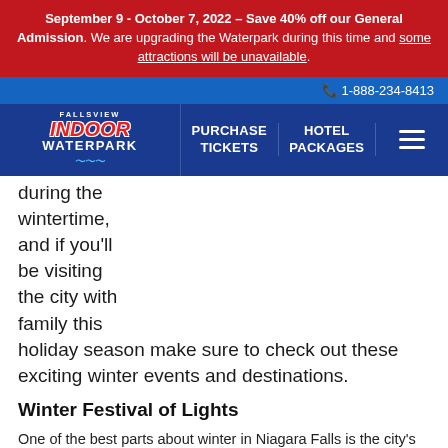September 9 - October 7, 2022 – Save 40% off our General Admission. We are upgrading the Waterpark during this time and some attractions will be unavailable.
📞 1-888-234-8413
[Figure (logo): Fallsview Indoor Waterpark logo with navigation bar showing PURCHASE TICKETS, HOTEL PACKAGES, and hamburger menu]
during the wintertime, and if you'll be visiting the city with family this holiday season make sure to check out these exciting winter events and destinations.
Winter Festival of Lights
One of the best parts about winter in Niagara Falls is the city's annual Winter Festival of Lights, running this year from November 18th to January 31st. Travel along the 8km